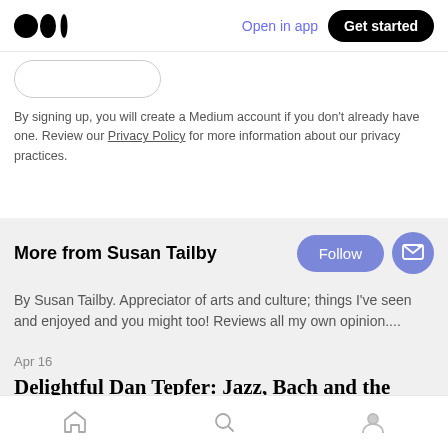Medium logo | Open in app | Get started
[Figure (screenshot): Partial Google sign-in button (truncated at top)]
By signing up, you will create a Medium account if you don't already have one. Review our Privacy Policy for more information about our privacy practices.
More from Susan Tailby
By Susan Tailby. Appreciator of arts and culture; things I've seen and enjoyed and you might too! Reviews all my own opinion....
Apr 16
Delightful Dan Tepfer: Jazz, Bach and the Nicest Online Audience
Home | Search | Profile